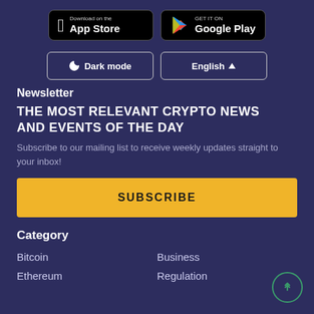[Figure (other): App Store and Google Play download buttons side by side on dark background]
[Figure (other): Dark mode toggle button and English language selector button]
Newsletter
THE MOST RELEVANT CRYPTO NEWS AND EVENTS OF THE DAY
Subscribe to our mailing list to receive weekly updates straight to your inbox!
SUBSCRIBE
Category
Bitcoin
Business
Ethereum
Regulation